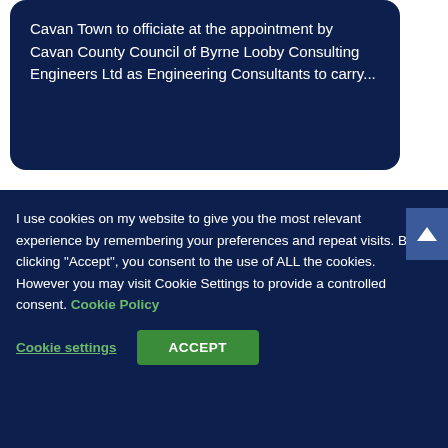Cavan Town to officiate at the appointment by Cavan County Council of Byrne Looby Consulting Engineers Ltd as Engineering Consultants to carry...
I use cookies on my website to give you the most relevant experience by remembering your preferences and repeat visits. By clicking "Accept", you consent to the use of ALL the cookies. However you may visit Cookie Settings to provide a controlled consent. Cookie Policy
Cookie settings
ACCEPT